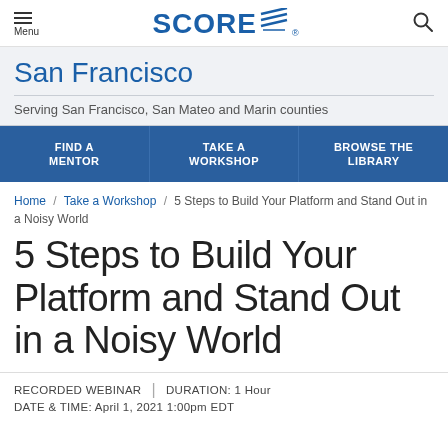Menu | SCORE | Search
San Francisco
Serving San Francisco, San Mateo and Marin counties
FIND A MENTOR | TAKE A WORKSHOP | BROWSE THE LIBRARY
Home / Take a Workshop / 5 Steps to Build Your Platform and Stand Out in a Noisy World
5 Steps to Build Your Platform and Stand Out in a Noisy World
RECORDED WEBINAR | DURATION: 1 Hour
DATE & TIME: April 1, 2021 1:00pm EDT